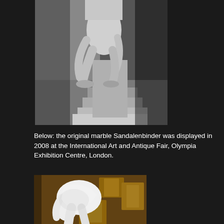[Figure (photo): Black and white photograph of a marble sculpture (Sandalenbinder) showing a figure seated on a pedestal, bending down, viewed from the front]
Below: the original marble Sandalenbinder was displayed in 2008 at the International Art and Antique Fair, Olympia Exhibition Centre, London.
[Figure (photo): Color photograph of a white marble sculpture of a figure bending forward, displayed at an art fair with golden frames visible in the background]